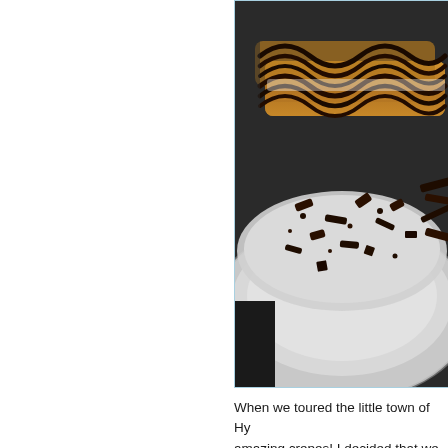[Figure (photo): Close-up photograph of crepes on a silver plate with chocolate sauce drizzled in a zigzag pattern and dark chocolate shavings scattered around]
When we toured the little town of Hy... amazing crepes! I decided that we w... by pancake (crepe) recipe from the...